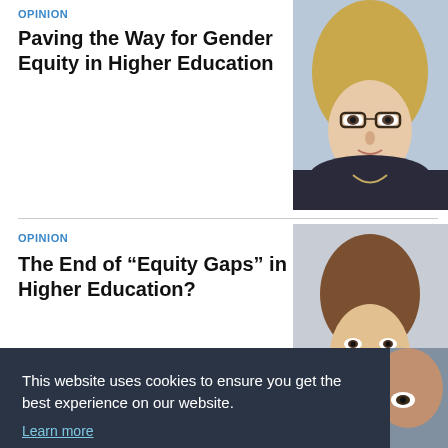OPINION
Paving the Way for Gender Equity in Higher Education
[Figure (photo): Headshot of a woman with blonde curly hair and glasses, wearing a dark top]
OPINION
The End of “Equity Gaps” in Higher Education?
[Figure (photo): Headshot of a woman with short brown hair, smiling, against a light background]
This website uses cookies to ensure you get the best experience on our website.
Learn more
Got it!
[Figure (photo): Partial headshot of a person, only forehead and eyes visible at bottom right]
OPINION